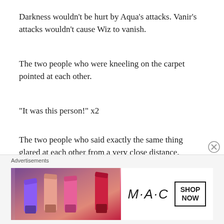Darkness wouldn’t be hurt by Aqua’s attacks. Vanir’s attacks wouldn’t cause Wiz to vanish.
The two people who were kneeling on the carpet pointed at each other.
“It was this person!” x2
The two people who said exactly the same thing glared at each other from a very close distance.
Aqua frowned and clenched her teeth in rage.
It was difficult to see Vanir’s expression because of his mask, but his mouth was twitching.
[Figure (illustration): MAC cosmetics advertisement banner showing colorful lipsticks on the left and MAC logo with SHOP NOW button on the right]